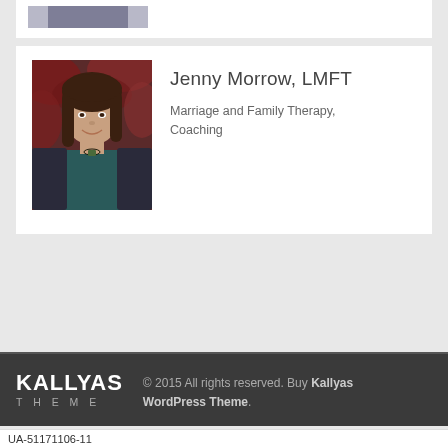[Figure (photo): Partial view of a person in a suit (top card, cropped photo stub)]
[Figure (photo): Portrait photo of Jenny Morrow, LMFT, a woman with long brown hair smiling, standing in front of red-leafed foliage, wearing a teal top and dark cardigan]
Jenny Morrow, LMFT
Marriage and Family Therapy, Coaching
KALLYAS THEME
© 2015 All rights reserved. Buy Kallyas WordPress Theme.
UA-51171106-11